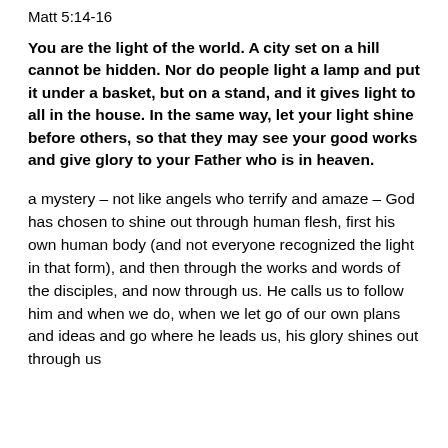Matt 5:14-16
You are the light of the world. A city set on a hill cannot be hidden. Nor do people light a lamp and put it under a basket, but on a stand, and it gives light to all in the house. In the same way, let your light shine before others, so that they may see your good works and give glory to your Father who is in heaven.
a mystery – not like angels who terrify and amaze – God has chosen to shine out through human flesh, first his own human body (and not everyone recognized the light in that form), and then through the works and words of the disciples, and now through us. He calls us to follow him and when we do, when we let go of our own plans and ideas and go where he leads us, his glory shines out through us